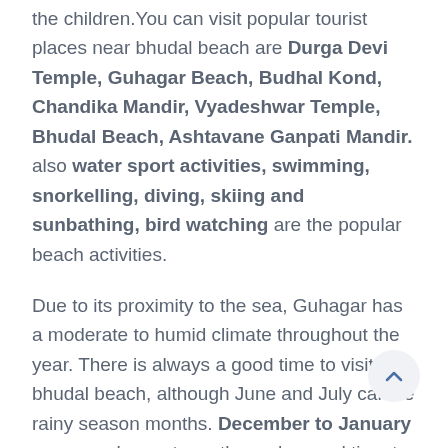the children.You can visit popular tourist places near bhudal beach are Durga Devi Temple, Guhagar Beach, Budhal Kond, Chandika Mandir, Vyadeshwar Temple, Bhudal Beach, Ashtavane Ganpati Mandir. also water sport activities, swimming, snorkelling, diving, skiing and sunbathing, bird watching are the popular beach activities.
Due to its proximity to the sea, Guhagar has a moderate to humid climate throughout the year. There is always a good time to visit bhudal beach, although June and July can be rainy season months. December to January are very pleasant months and a good time to visit bhudal beach. So you can enjoy all beach activities in bhudal beach.
Bhudal Beach Accommodation